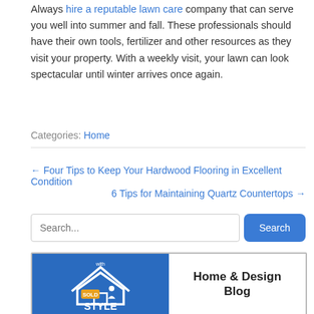Always hire a reputable lawn care company that can serve you well into summer and fall. These professionals should have their own tools, fertilizer and other resources as they visit your property. With a weekly visit, your lawn can look spectacular until winter arrives once again.
Categories: Home
← Four Tips to Keep Your Hardwood Flooring in Excellent Condition
6 Tips for Maintaining Quartz Countertops →
[Figure (screenshot): Search bar with text input field and blue Search button]
[Figure (logo): Home & Design Blog banner logo with blue left panel showing 'with STYLE' house logo and white right panel with 'Home & Design Blog' text]